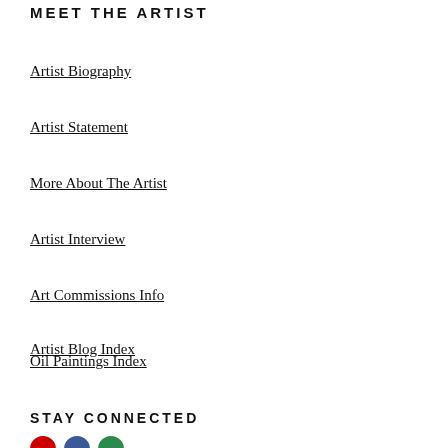MEET THE ARTIST
Artist Biography
Artist Statement
More About The Artist
Artist Interview
Art Commissions Info
Artist Blog Index
Oil Paintings Index
STAY CONNECTED
[Figure (other): Social media icon buttons (red, blue, green circles)]